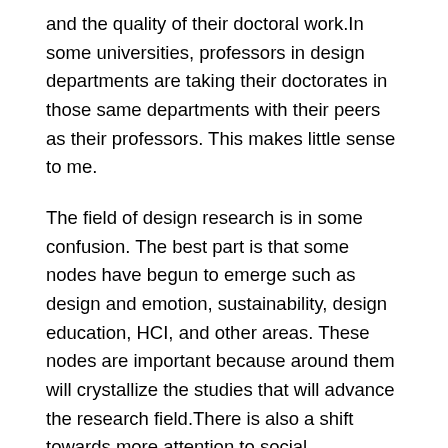and the quality of their doctoral work.In some universities, professors in design departments are taking their doctorates in those same departments with their peers as their professors. This makes little sense to me.
The field of design research is in some confusion. The best part is that some nodes have begun to emerge such as design and emotion, sustainability, design education, HCI, and other areas. These nodes are important because around them will crystallize the studies that will advance the research field.There is also a shift towards more attention to social accountability in design and design research.
Fields like sustainability and design for development are becoming popular and there is more emphasis on trying to understand the idea of social design. The big problem is that the support system for design practice is not sufficient to accommodate all the complications that occur in ensuring that the